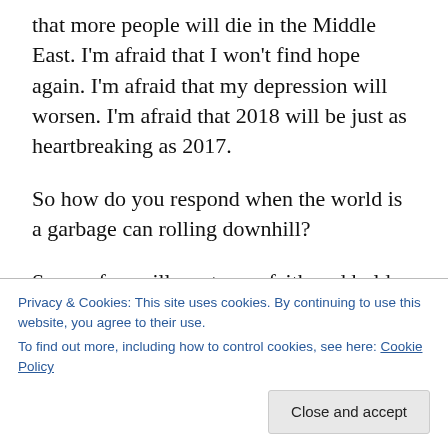that more people will die in the Middle East. I'm afraid that I won't find hope again. I'm afraid that my depression will worsen. I'm afraid that 2018 will be just as heartbreaking as 2017.
So how do you respond when the world is a garbage can rolling downhill?
Some of us will run to our faith and hold on for dear life. Some of us will throw ourselves into some kind of human service. Some of us will turn
Privacy & Cookies: This site uses cookies. By continuing to use this website, you agree to their use.
To find out more, including how to control cookies, see here: Cookie Policy